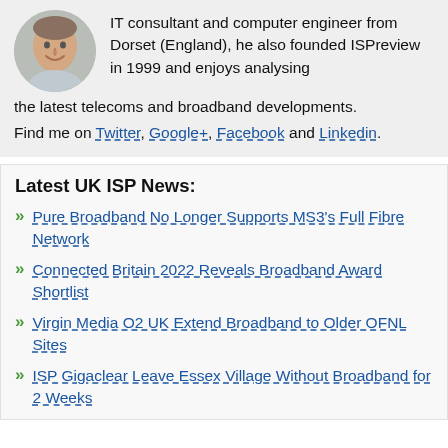IT consultant and computer engineer from Dorset (England), he also founded ISPreview in 1999 and enjoys analysing the latest telecoms and broadband developments. Find me on Twitter, Google+, Facebook and Linkedin.
[Figure (photo): Circular profile photo of a smiling man]
Latest UK ISP News:
Pure Broadband No Longer Supports MS3's Full Fibre Network
Connected Britain 2022 Reveals Broadband Award Shortlist
Virgin Media O2 UK Extend Broadband to Older OFNL Sites
ISP Gigaclear Leave Essex Village Without Broadband for 2 Weeks